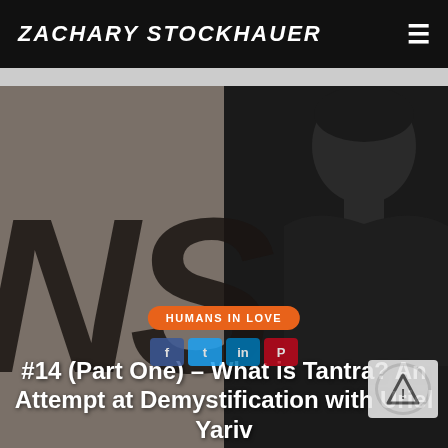ZACHARY STOCKHAUER
[Figure (photo): Hero image split in two halves: left side shows a dark taupe/gray background with large black graffiti-style 'NS' letters; right side shows a dark near-black portrait photo of a man. An orange pill badge reads 'HUMANS IN LOVE'. Social sharing icons (Facebook, Twitter, LinkedIn, Pinterest) appear at the bottom. A reCAPTCHA widget is in the lower-right corner.]
HUMANS IN LOVE
#14 (Part One) – What is Tantra? An Attempt at Demystification with Uriel Yariv